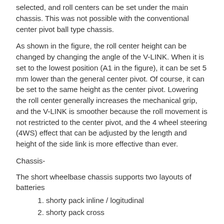selected, and roll centers can be set under the main chassis. This was not possible with the conventional center pivot ball type chassis.
As shown in the figure, the roll center height can be changed by changing the angle of the V-LINK. When it is set to the lowest position (A1 in the figure), it can be set 5 mm lower than the general center pivot. Of course, it can be set to the same height as the center pivot. Lowering the roll center generally increases the mechanical grip, and the V-LINK is smoother because the roll movement is not restricted to the center pivot, and the 4 wheel steering (4WS) effect that can be adjusted by the length and height of the side link is more effective than ever.
Chassis-
The short wheelbase chassis supports two layouts of batteries
shorty pack inline / logitudinal
shorty pack cross
The G56 platform can be converted in-between many configurations
235mm and 200mm track widths
Center Pivot or V-LINK rear suspension